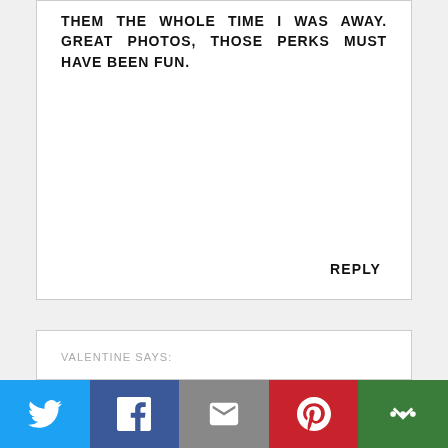THEM THE WHOLE TIME I WAS AWAY. GREAT PHOTOS, THOSE PERKS MUST HAVE BEEN FUN.
REPLY
VALENTINE SAYS:
WHEN I SIT LIKE THAT, MY HUMANS SAY I'M "IN MY RECLINER" POSITION. YOUR MOM IS SURE TO BRING YOU HOME LOTS OF GOODIES! MAYBE YOU COULD COME OVER TO MY HOUSE SO WE COULD PLAY TOGETHER WHILE OUR MOMS ARE AWAY? THE PETSITTER IS SLEEPING IN MY BED
Twitter | Facebook | Email | Pinterest | More